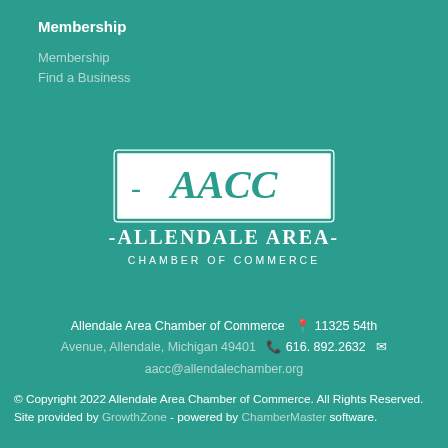Membership
Membership
Find a Business
[Figure (logo): AACC Allendale Area Chamber of Commerce logo — white rectangle with teal border containing AACC lettermark above stylized text 'Allendale Area Chamber of Commerce']
Allendale Area Chamber of Commerce  📍 11325 54th Avenue, Allendale, Michigan 49401  📞 616. 892.2632  ✉ aacc@allendalechamber.org
© Copyright 2022 Allendale Area Chamber of Commerce. All Rights Reserved. Site provided by GrowthZone - powered by ChamberMaster software.